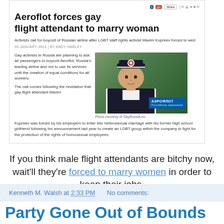[Figure (screenshot): Screenshot of an online news article with headline 'Aeroflot forces gay flight attendant to marry woman', subtitle, byline, body text, and a photo of a man in airline uniform with Aeroflot badge]
If you think male flight attendants are bitchy now, wait'll they're forced to marry women in order to keep their jobs.
Kenneth M. Walsh at 2:33 PM    No comments:
Party Gone Out of Bounds